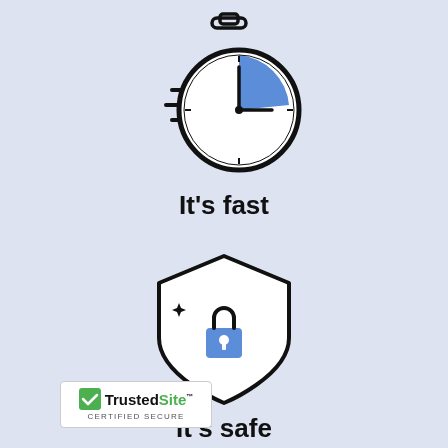[Figure (illustration): Stopwatch icon with blue section and speed lines indicating fast movement]
It's fast
[Figure (illustration): Shield icon with a blue padlock and sparkle indicating security/safety]
It's safe
[Figure (logo): TrustedSite Certified Secure badge with green checkmark]